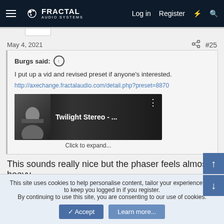Fractal Audio Systems — Log in  Register
May 4, 2021  #25
Burgs said: ↑
I put up a vid and revised preset if anyone's interested.
http://axechange.fractalaudio.com/detail.php?preset=8870
Twilight Stereo - ...
Click to expand...
This sounds really nice but the phaser feels almost heavy
This site uses cookies to help personalise content, tailor your experience and to keep you logged in if you register.
By continuing to use this site, you are consenting to our use of cookies.
✓ Accept   Learn more...